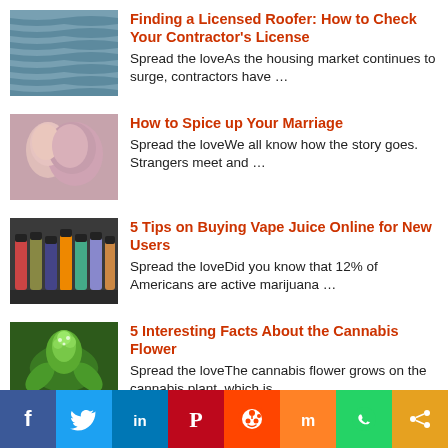Finding a Licensed Roofer: How to Check Your Contractor’s License
Spread the loveAs the housing market continues to surge, contractors have …
How to Spice up Your Marriage
Spread the loveWe all know how the story goes. Strangers meet and …
5 Tips on Buying Vape Juice Online for New Users
Spread the loveDid you know that 12% of Americans are active marijuana …
5 Interesting Facts About the Cannabis Flower
Spread the loveThe cannabis flower grows on the cannabis plant, which is …
[Figure (infographic): Social share bar with icons: Facebook, Twitter, LinkedIn, Pinterest, Reddit, Mix, WhatsApp, Share]